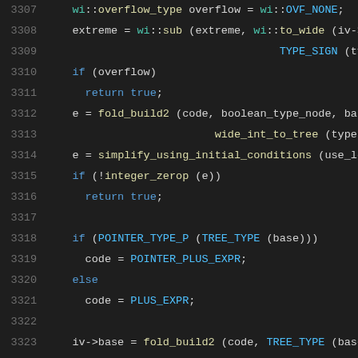[Figure (screenshot): Source code viewer showing C/C++ code lines 3307-3328 with syntax highlighting on a dark background. Line numbers in gray on left, keywords in blue, function names in yellow, control flow in blue, comments in red, operators and punctuation in white.]